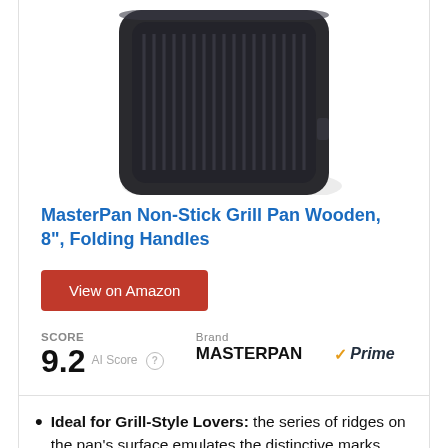[Figure (photo): Product photo of MasterPan Non-Stick Grill Pan with ridged surface, dark charcoal color, square shape with folding handles, viewed from above at an angle]
MasterPan Non-Stick Grill Pan Wooden, 8", Folding Handles
View on Amazon
SCORE
9.2  AI Score
Brand
MASTERPAN
Prime
Ideal for Grill-Style Lovers: the series of ridges on the pan's surface emulates the distinctive marks made by a barbecue grill and also collects